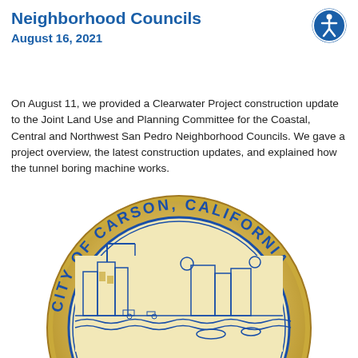Neighborhood Councils
August 16, 2021
[Figure (logo): Accessibility icon — blue circle with white wheelchair/person symbol]
On August 11, we provided a Clearwater Project construction update to the Joint Land Use and Planning Committee for the Coastal, Central and Northwest San Pedro Neighborhood Councils. We gave a project overview, the latest construction updates, and explained how the tunnel boring machine works.
[Figure (logo): City of Carson, California official seal — circular gold seal with blue text reading CITY OF CARSON, CALIFORNIA around the border and detailed illustrated city scene in the center]